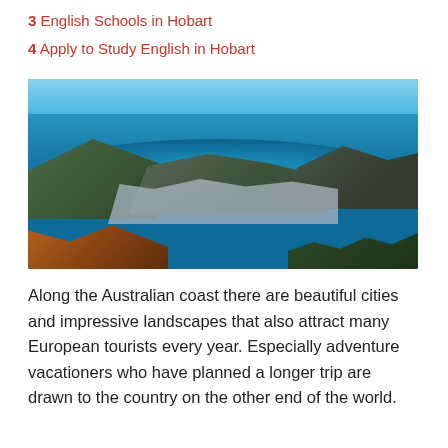3  English Schools in Hobart
4  Apply to Study English in Hobart
[Figure (photo): Aerial panoramic view of Hobart, Tasmania, showing the city, harbor with blue water, surrounding mountains and hills, with rocky foreground and green trees.]
Along the Australian coast there are beautiful cities and impressive landscapes that also attract many European tourists every year. Especially adventure vacationers who have planned a longer trip are drawn to the country on the other end of the world.